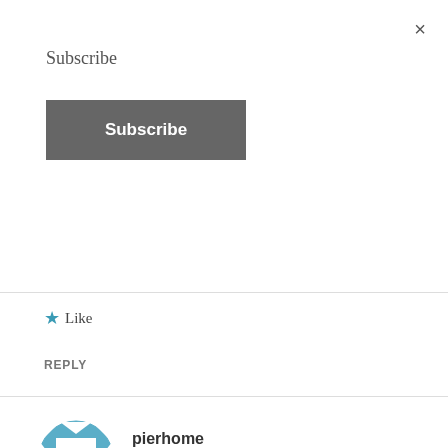×
Subscribe
Subscribe
★ Like
REPLY
pierhome
MAY 26, 2010 AT 3:17 PM
I posted on Facebook! Thanks!
★ Like